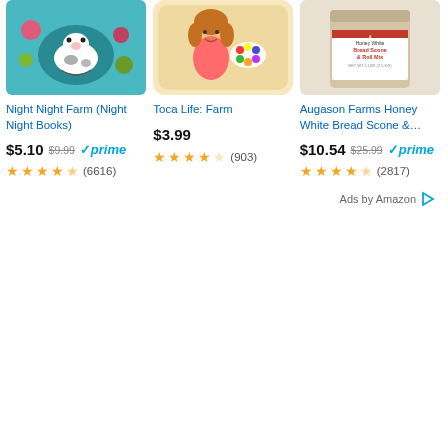[Figure (screenshot): Amazon product listing grid showing three items: Night Night Farm book, Toca Life Farm app, Augason Farms Honey White Bread Scone & Roll Mix]
Night Night Farm (Night Night Books)
$5.10 $9.99 prime (6616)
Toca Life: Farm
$3.99 (903)
Augason Farms Honey White Bread Scone &…
$10.54 $25.99 prime (2817)
Ads by Amazon